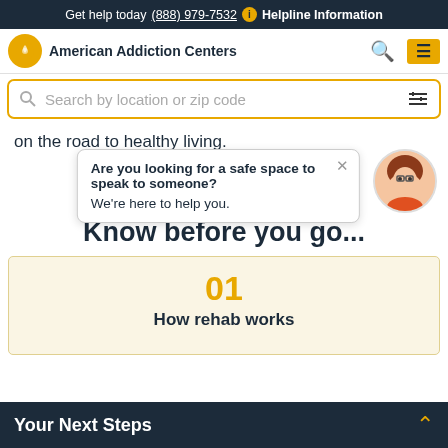Get help today (888) 979-7532  Helpline Information
[Figure (screenshot): American Addiction Centers navigation bar with logo, search icon, and hamburger menu]
[Figure (screenshot): Search bar with placeholder: Search by location or zip code, with filter icon]
on the road to healthy living.
[Figure (logo): American Addiction Centers logo — circular star icon with brand name]
Know before you go...
[Figure (infographic): Chat bubble popup: Are you looking for a safe space to speak to someone? We're here to help you. With avatar illustration and close button.]
01
How rehab works
Your Next Steps